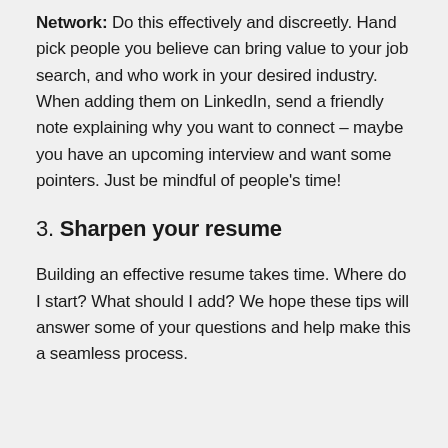Network: Do this effectively and discreetly. Hand pick people you believe can bring value to your job search, and who work in your desired industry. When adding them on LinkedIn, send a friendly note explaining why you want to connect – maybe you have an upcoming interview and want some pointers. Just be mindful of people's time!
3. Sharpen your resume
Building an effective resume takes time. Where do I start? What should I add? We hope these tips will answer some of your questions and help make this a seamless process.